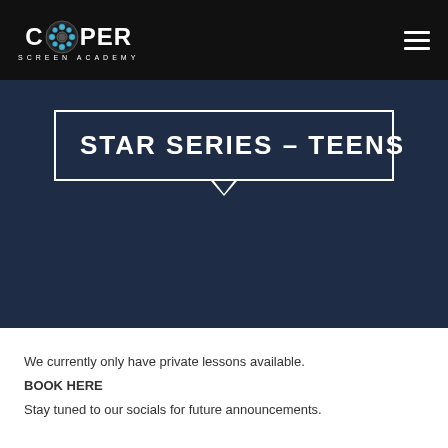COOPER SCREEN ACADEMY
STAR SERIES – TEENS
We currently only have private lessons available.
BOOK HERE
Stay tuned to our socials for future announcements.